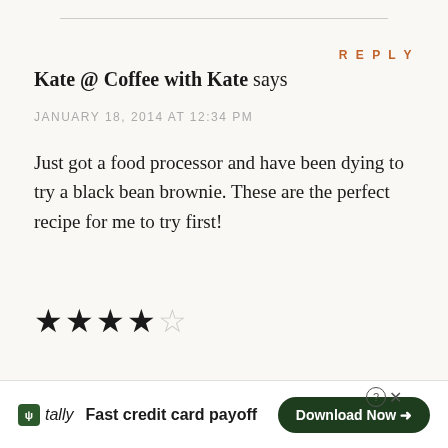Kate @ Coffee with Kate says
JANUARY 18, 2014 AT 12:34 PM
Just got a food processor and have been dying to try a black bean brownie. These are the perfect recipe for me to try first!
[Figure (other): 4 out of 5 stars rating]
REPLY
Dana @ Minimalist Baker says
REPLY
[Figure (infographic): Tally app advertisement - Fast credit card payoff, Download Now button]